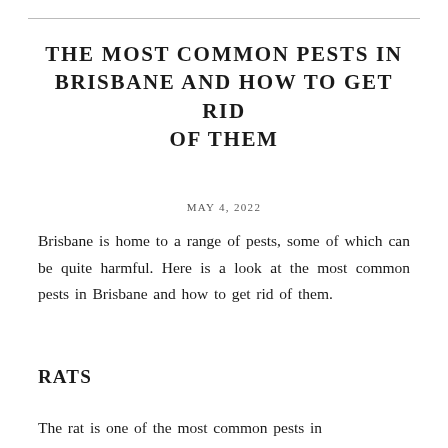THE MOST COMMON PESTS IN BRISBANE AND HOW TO GET RID OF THEM
MAY 4, 2022
Brisbane is home to a range of pests, some of which can be quite harmful. Here is a look at the most common pests in Brisbane and how to get rid of them.
RATS
The rat is one of the most common pests in